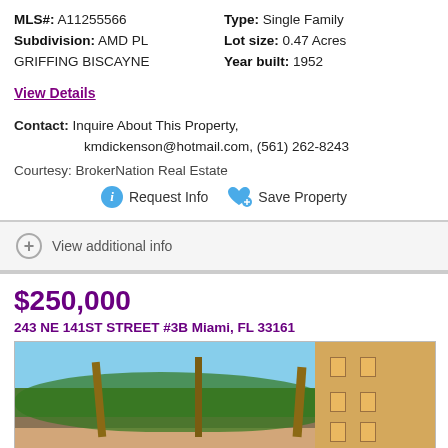MLS#: A11255566   Type: Single Family
Subdivision: AMD PL GRIFFING BISCAYNE   Lot size: 0.47 Acres
Year built: 1952
View Details
Contact: Inquire About This Property, kmdickenson@hotmail.com, (561) 262-8243
Courtesy: BrokerNation Real Estate
Request Info   Save Property
View additional info
$250,000
243 NE 141ST STREET #3B Miami, FL 33161
[Figure (photo): Exterior photo of a property at 243 NE 141ST STREET #3B Miami, FL 33161, showing palm trees and a building with beige/yellow walls.]